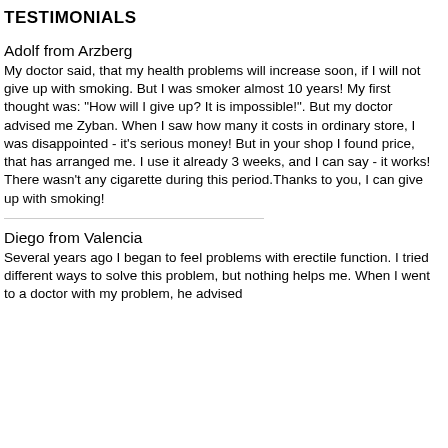TESTIMONIALS
Adolf from Arzberg
My doctor said, that my health problems will increase soon, if I will not give up with smoking. But I was smoker almost 10 years! My first thought was: "How will I give up? It is impossible!". But my doctor advised me Zyban. When I saw how many it costs in ordinary store, I was disappointed - it's serious money! But in your shop I found price, that has arranged me. I use it already 3 weeks, and I can say - it works! There wasn't any cigarette during this period.Thanks to you, I can give up with smoking!
Diego from Valencia
Several years ago I began to feel problems with erectile function. I tried different ways to solve this problem, but nothing helps me. When I went to a doctor with my problem, he advised